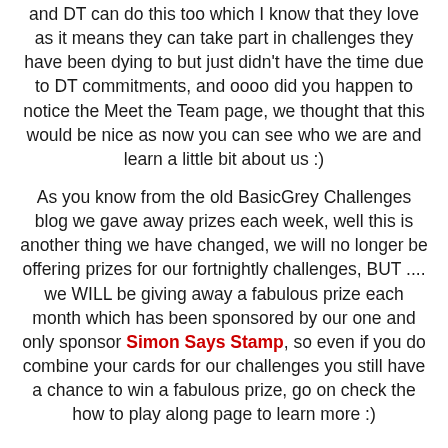and DT can do this too which I know that they love as it means they can take part in challenges they have been dying to but just didn't have the time due to DT commitments, and oooo did you happen to notice the Meet the Team page, we thought that this would be nice as now you can see who we are and learn a little bit about us :)
As you know from the old BasicGrey Challenges blog we gave away prizes each week, well this is another thing we have changed, we will no longer be offering prizes for our fortnightly challenges, BUT .... we WILL be giving away a fabulous prize each month which has been sponsored by our one and only sponsor Simon Says Stamp, so even if you do combine your cards for our challenges you still have a chance to win a fabulous prize, go on check the how to play along page to learn more :)
Now i know from emails and word around the web that you have missed us, well the feeling is mutual we have missed you and the challenges so so much and we are so glad to be back, so as a thank you and as an official launch to the new BasicGrey Challenges blog, we have some candy to give...